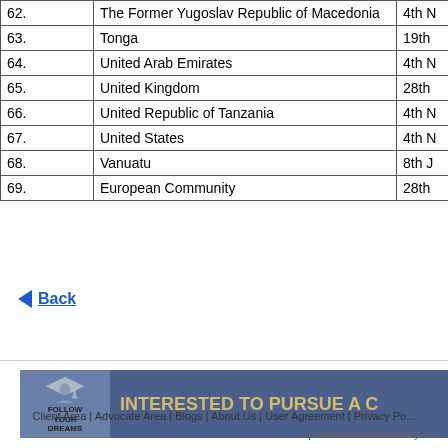| # | Country | Date |
| --- | --- | --- |
| 62. | The Former Yugoslav Republic of Macedonia | 4th N |
| 63. | Tonga | 19th |
| 64. | United Arab Emirates | 4th N |
| 65. | United Kingdom | 28th |
| 66. | United Republic of Tanzania | 4th N |
| 67. | United States | 4th N |
| 68. | Vanuatu | 8th J |
| 69. | European Community | 28th |
Back
[Figure (infographic): Banner with 'Follow Your Dreams' logo on left and 'INTERESTED TO PURSUE A C...' text on right, blue background with gold text]
Client Area | Advocate Area | Blogs | About Us | User Agreement | Privacy Po...
powered and driven by ne...